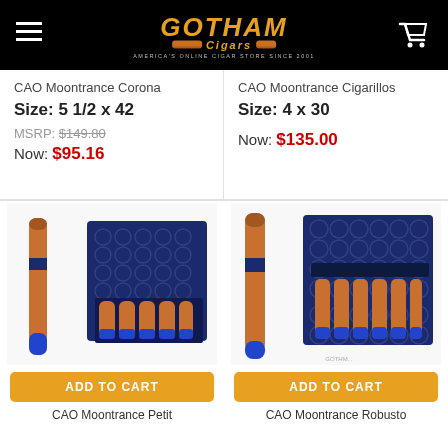GOTHAM Cigars — America's Online Cigar Store Since 2001
CAO Moontrance Corona
Size: 5 1/2 x 42
MSRP: $149.80
Now: $95.16
CAO Moontrance Cigarillos
Size: 4 x 30
Now: $135.00
[Figure (photo): CAO Moontrance Petit cigar product with blue-tipped cigars in a navy blue box with circle pattern]
ADD TO CART
CAO Moontrance Petit
[Figure (photo): CAO Moontrance Robusto cigar product with blue-tipped cigars in a navy blue box with circle pattern]
ADD TO CART
CAO Moontrance Robusto